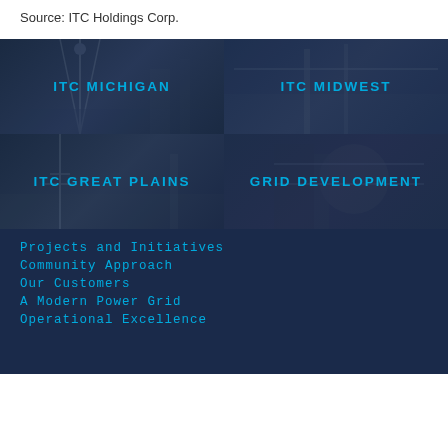Source: ITC Holdings Corp.
[Figure (photo): Four-panel image grid showing ITC subsidiaries: ITC Michigan (wind turbine construction), ITC Midwest (transmission infrastructure in natural setting), ITC Great Plains (power line construction in rural area), Grid Development (worker in hard hat working on equipment)]
Projects and Initiatives
Community Approach
Our Customers
A Modern Power Grid
Operational Excellence